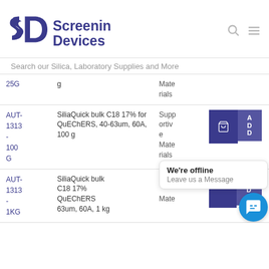[Figure (logo): Screening Devices logo with stylized SD monogram and text]
Search our Silica, Laboratory Supplies and More
| SKU | Product | Category | Actions |
| --- | --- | --- | --- |
| 25G | g | Materials |  |
| AUT-1313-100G | SiliaQuick bulk C18 17% for QuEChERS, 40-63um, 60A, 100 g | Supportive Materials | ADD |
| AUT-1313-1KG | SiliaQuick bulk C18 17% QuEChERS 63um, 60A, 1 kg | Mate | ADD |